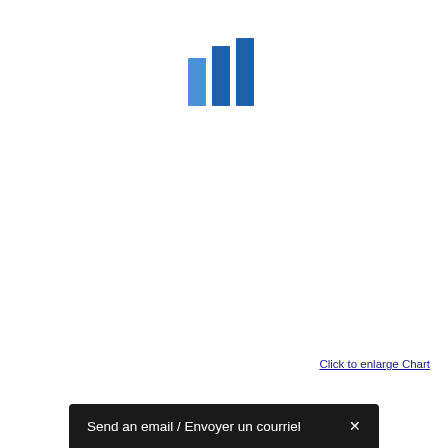[Figure (other): Three blue vertical bars of varying heights forming a loading/chart icon, positioned near the top center of the page]
Click to enlarge Chart
Send an email / Envoyer un courriel ×